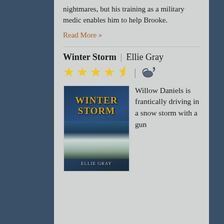nightmares, but his training as a military medic enables him to help Brooke.
Read More »
Winter Storm | Ellie Gray
[Figure (other): 4.5 star rating with genie lamp icon]
[Figure (photo): Book cover of Winter Storm by Ellie Gray showing snowy winter forest scene]
Willow Daniels is frantically driving in a snow storm with a gun